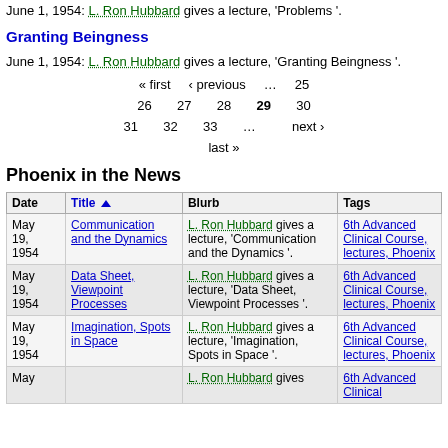June 1, 1954: L. Ron Hubbard gives a lecture, 'Problems '.
Granting Beingness
June 1, 1954: L. Ron Hubbard gives a lecture, 'Granting Beingness '.
« first  ‹ previous  …  25  26  27  28  29  30  31  32  33  …  next ›  last »
Phoenix in the News
| Date | Title ▲ | Blurb | Tags |
| --- | --- | --- | --- |
| May 19, 1954 | Communication and the Dynamics | L. Ron Hubbard gives a lecture, 'Communication and the Dynamics '. | 6th Advanced Clinical Course, lectures, Phoenix |
| May 19, 1954 | Data Sheet, Viewpoint Processes | L. Ron Hubbard gives a lecture, 'Data Sheet, Viewpoint Processes '. | 6th Advanced Clinical Course, lectures, Phoenix |
| May 19, 1954 | Imagination, Spots in Space | L. Ron Hubbard gives a lecture, 'Imagination, Spots in Space '. | 6th Advanced Clinical Course, lectures, Phoenix |
| May |  | L. Ron Hubbard gives | 6th Advanced Clinical |